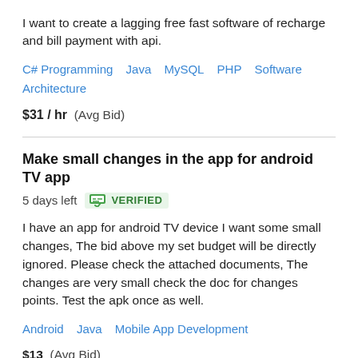I want to create a lagging free fast software of recharge and bill payment with api.
C# Programming   Java   MySQL   PHP   Software Architecture
$31 / hr  (Avg Bid)
Make small changes in the app for android TV app
5 days left   VERIFIED
I have an app for android TV device I want some small changes, The bid above my set budget will be directly ignored. Please check the attached documents, The changes are very small check the doc for changes points. Test the apk once as well.
Android   Java   Mobile App Development
$13  (Avg Bid)